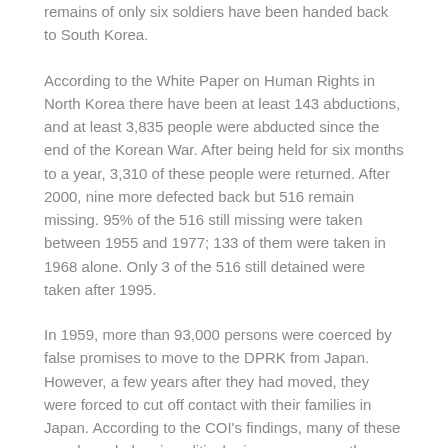remains of only six soldiers have been handed back to South Korea.
According to the White Paper on Human Rights in North Korea there have been at least 143 abductions, and at least 3,835 people were abducted since the end of the Korean War. After being held for six months to a year, 3,310 of these people were returned. After 2000, nine more defected back but 516 remain missing. 95% of the 516 still missing were taken between 1955 and 1977; 133 of them were taken in 1968 alone. Only 3 of the 516 still detained were taken after 1995.
In 1959, more than 93,000 persons were coerced by false promises to move to the DPRK from Japan. However, a few years after they had moved, they were forced to cut off contact with their families in Japan. According to the COI's findings, many of these people ended up in political prison camps or other places of detention in the DPRK where they were subjected to other crimes against humanity. Over a hundred citizens of